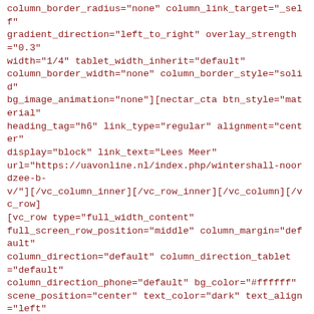column_border_radius="none" column_link_target="_self" gradient_direction="left_to_right" overlay_strength="0.3" width="1/4" tablet_width_inherit="default" column_border_width="none" column_border_style="solid" bg_image_animation="none"][nectar_cta btn_style="material" heading_tag="h6" link_type="regular" alignment="center" display="block" link_text="Lees Meer" url="https://uavonline.nl/index.php/wintershall-noordzee-b-v/"][/vc_column_inner][/vc_row_inner][/vc_column][/vc_row][vc_row type="full_width_content" full_screen_row_position="middle" column_margin="default" column_direction="default" column_direction_tablet="default" column_direction_phone="default" bg_color="#ffffff" scene_position="center" text_color="dark" text_align="left" row_border_radius="none" row_border_radius_applies="bg" overlay_strength="0.3" gradient_direction="left_to_right" shape_divider_position="bottom" bg_image_animation="none"][vc_column column_padding="padding-1-percent" column_padding_tablet="inherit" column_padding_phone="inherit" column_padding_position="left-right" background_color_opacity="1"